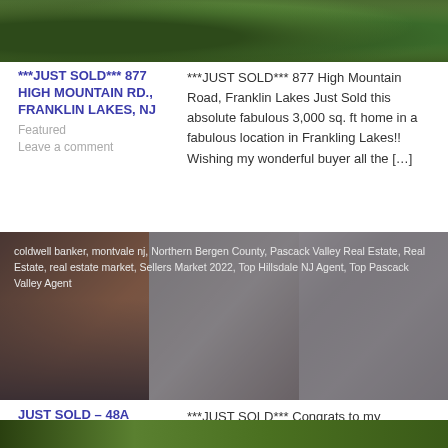[Figure (photo): Aerial/ground view of a green landscaped property with trees and lawn]
***JUST SOLD*** 877 HIGH MOUNTAIN RD., FRANKLIN LAKES, NJ
Featured
Leave a comment
***JUST SOLD*** 877 High Mountain Road, Franklin Lakes Just Sold this absolute fabulous 3,000 sq. ft home in a fabulous location in Frankling Lakes!! Wishing my wonderful buyer all the […]
[Figure (photo): Interior photos of a home showing dining area, staircase, living room, and bedroom with overlay text listing tags]
JUST SOLD – 48A FORSHEE CIRCLE, MONTVALE
August 15, 2022
Leave a comment
***JUST SOLD*** Congrats to my wonderful long-time client on the sale of her beautiful Valley View townhouse! She's thrilled to have gotten a young buyer who will appreciate it for […]
[Figure (photo): Exterior photo of another property with greenery]